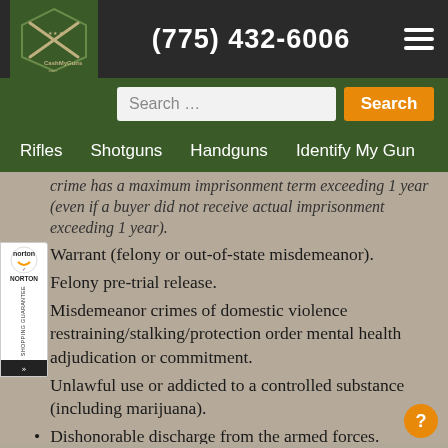(775) 432-6006 | CashMyGuns.com
Rifles  Shotguns  Handguns  Identify My Gun
crime has a maximum imprisonment term exceeding 1 year (even if a buyer did not receive actual imprisonment exceeding 1 year).
Warrant (felony or out-of-state misdemeanor).
Felony pre-trial release.
Misdemeanor crimes of domestic violence restraining/stalking/protection order mental health adjudication or commitment.
Unlawful use or addicted to a controlled substance (including marijuana).
Dishonorable discharge from the armed forces.
Renounced U.S. citizenship.
Illegal alien.